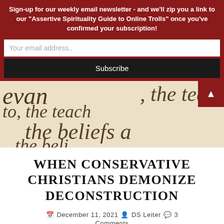Sign-up for our weekly email newsletter - and we'll zip you a link to our "Assertive Spirituality Guide to Online Trolls" once you've confirmed your subscription!
Your email address..
Subscribe
[Figure (photo): Close-up photo of Bible or religious text pages showing italic printed words: 'evan...', 'to, the teach...', 'the beliefs a...', 'the beli...' in dark ink on aged paper background.]
WHEN CONSERVATIVE CHRISTIANS DEMONIZE DECONSTRUCTION
December 11, 2021  DS Leiter  3 Comments